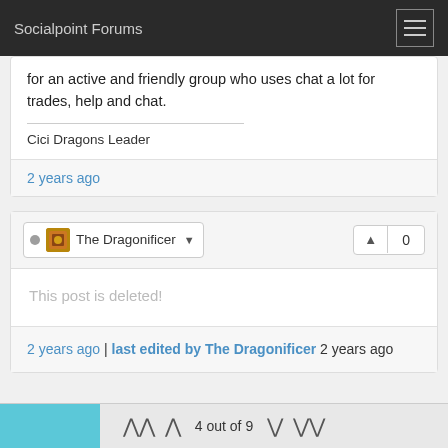Socialpoint Forums
for an active and friendly group who uses chat a lot for trades, help and chat.
Cici Dragons Leader
2 years ago
The Dragonificer
0
This post is deleted!
2 years ago | last edited by The Dragonificer 2 years ago
4 out of 9